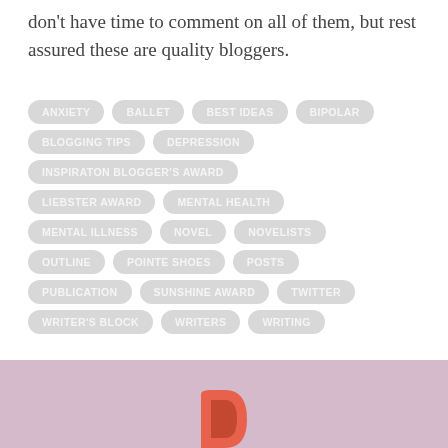don't have time to comment on all of them, but rest assured these are quality bloggers.
ANXIETY
BALLET
BEST IDEAS
BIPOLAR
BLOGGING TIPS
DEPRESSION
INSPIRATON BLOGGER'S AWARD
LIEBSTER AWARD
MENTAL HEALTH
MENTAL ILLNESS
NOVEL
NOVELISTS
OUTLINE
POINTE SHOES
POSTS
PUBLICATION
SUNSHINE AWARD
TWITTER
WRITER'S BLOCK
WRITERS
WRITING
[Figure (logo): Partial orange/salmon colored letter D logo at bottom center on pink/mauve background band]